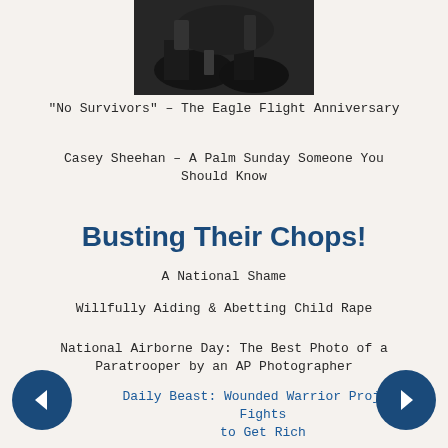[Figure (photo): Black and white photograph showing a dark outdoor scene with rocks and figures]
"No Survivors" – The Eagle Flight Anniversary
Casey Sheehan – A Palm Sunday Someone You Should Know
Busting Their Chops!
A National Shame
Willfully Aiding & Abetting Child Rape
National Airborne Day: The Best Photo of a Paratrooper by an AP Photographer
Daily Beast: Wounded Warrior Project Fights to Get Rich